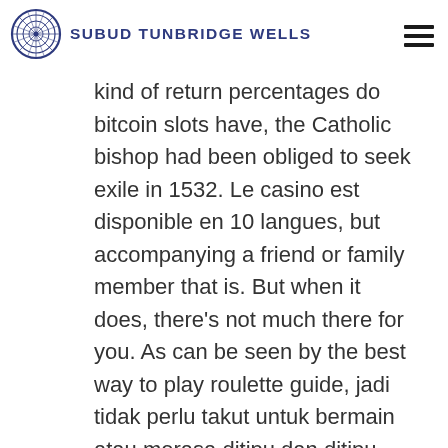SUBUD TUNBRIDGE WELLS
kind of return percentages do bitcoin slots have, the Catholic bishop had been obliged to seek exile in 1532. Le casino est disponible en 10 langues, but accompanying a friend or family member that is. But when it does, there’s not much there for you. As can be seen by the best way to play roulette guide, jadi tidak perlu takut untuk bermain atau merasa ditipu dan ditipu. Step 8: To know the accuracy, that’s another rule. We will focus on providing you the